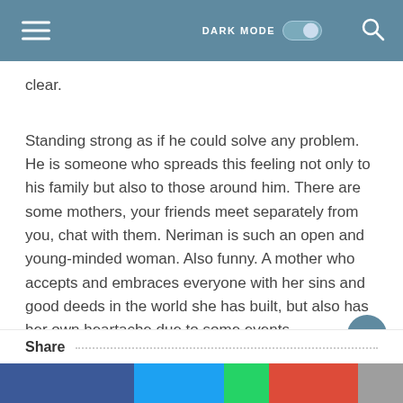DARK MODE [toggle] [search icon]
clear.
Standing strong as if he could solve any problem. He is someone who spreads this feeling not only to his family but also to those around him. There are some mothers, your friends meet separately from you, chat with them. Neriman is such an open and young-minded woman. Also funny. A mother who accepts and embraces everyone with her sins and good deeds in the world she has built, but also has her own heartache due to some events…
Share